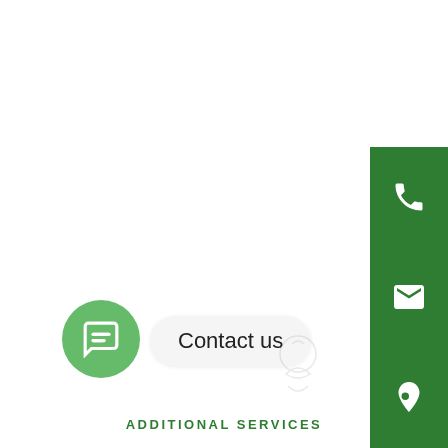[Figure (infographic): Green sidebar with phone, email, location pin, and star icons on right side of page]
[Figure (infographic): Green circular chat bubble icon on bottom left]
Contact us
ADDITIONAL SERVICES